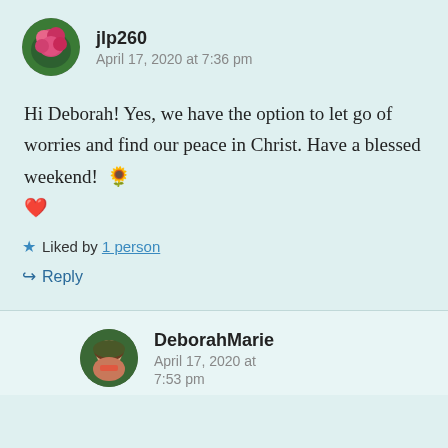jlp260
April 17, 2020 at 7:36 pm
Hi Deborah! Yes, we have the option to let go of worries and find our peace in Christ. Have a blessed weekend! 🌻 ❤️
⭐ Liked by 1 person
↪ Reply
DeborahMarie
April 17, 2020 at 7:53 pm